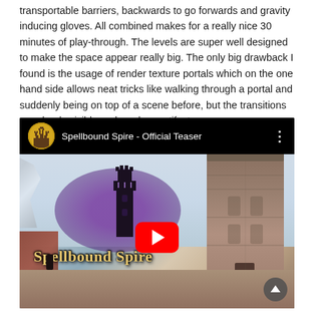transportable barriers, backwards to go forwards and gravity inducing gloves. All combined makes for a really nice 30 minutes of play-through. The levels are super well designed to make the space appear really big. The only big drawback I found is the usage of render texture portals which on the one hand side allows neat tricks like walking through a portal and suddenly being on top of a scene before, but the transitions are clearly visible and produce artifacts.
[Figure (screenshot): YouTube embedded video preview for 'Spellbound Spire - Official Teaser' showing a stone tower with purple magical clouds and the game's logo text, with a red YouTube play button in the center]